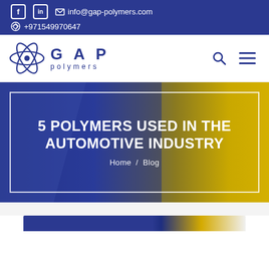info@gap-polymers.com | +971549970647
[Figure (logo): GAP Polymers logo with atom symbol]
5 POLYMERS USED IN THE AUTOMOTIVE INDUSTRY
Home / Blog
[Figure (photo): Automotive industry image at bottom of page]